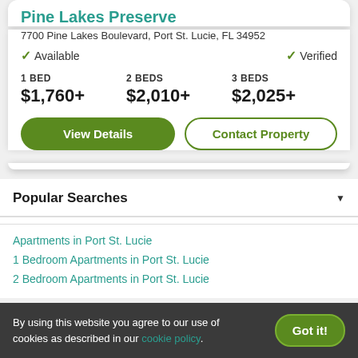Pine Lakes Preserve
7700 Pine Lakes Boulevard, Port St. Lucie, FL 34952
✓ Available   ✓ Verified
| 1 BED | 2 BEDS | 3 BEDS |
| --- | --- | --- |
| $1,760+ | $2,010+ | $2,025+ |
View Details | Contact Property
Popular Searches
Apartments in Port St. Lucie
1 Bedroom Apartments in Port St. Lucie
2 Bedroom Apartments in Port St. Lucie
By using this website you agree to our use of cookies as described in our cookie policy.